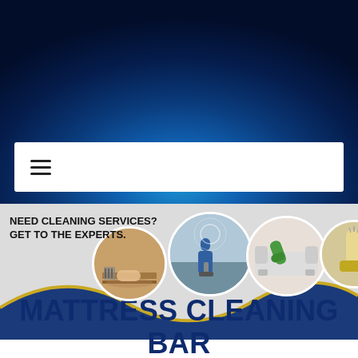[Figure (screenshot): Dark blue radial gradient hero background with lighter blue glow in center-bottom area]
[Figure (screenshot): White navigation bar with hamburger menu icon (three horizontal lines) on left side]
[Figure (infographic): Cleaning services banner with text 'NEED CLEANING SERVICES? GET TO THE EXPERTS.' on left and three circular photos showing: floor vent cleaning, carpet cleaning, sofa/mattress cleaning with green gloves, and upholstery steaming. Dark blue and gold wave design at bottom.]
MATTRESS CLEANING BAR POINT